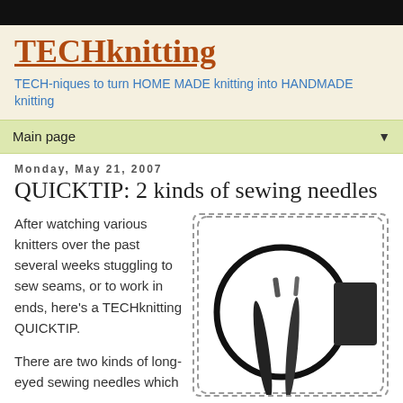TECHknitting
TECH-niques to turn HOME MADE knitting into HANDMADE knitting
Main page
Monday, May 21, 2007
QUICKTIP: 2 kinds of sewing needles
After watching various knitters over the past several weeks stuggling to sew seams, or to work in ends, here's a TECHknitting QUICKTIP.
There are two kinds of long-eyed sewing needles which
[Figure (illustration): Close-up illustration of two sewing needles with eyes, shown inside a circular magnifier, with a dark rectangular block at right representing needle packaging.]